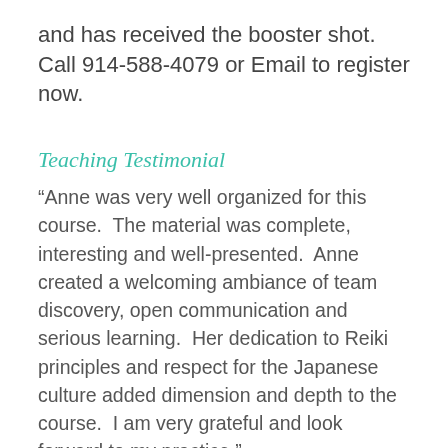and has received the booster shot. Call 914-588-4079 or Email to register now.
Teaching Testimonial
“Anne was very well organized for this course.  The material was complete, interesting and well-presented.  Anne created a welcoming ambiance of team discovery, open communication and serious learning.  Her dedication to Reiki principles and respect for the Japanese culture added dimension and depth to the course.  I am very grateful and look forward to my practice.”